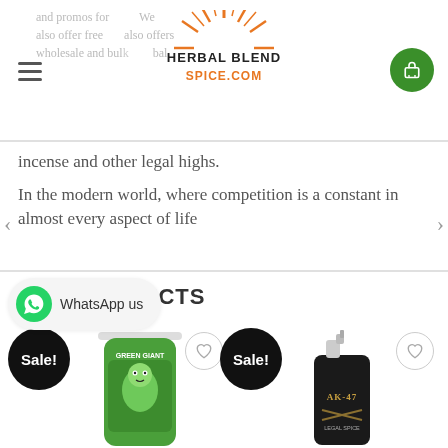HERBAL BLEND SPICE.COM — and promos for... also offer free... also offers wholesale and bulk... herbal
incense and other legal highs.
In the modern world, where competition is a constant in almost every aspect of life
PRODUCTS
WhatsApp us
[Figure (photo): Green Giant herbal blend product bottle with a cartoon green giant character label]
[Figure (photo): AK-47 spray bottle product with dark label]